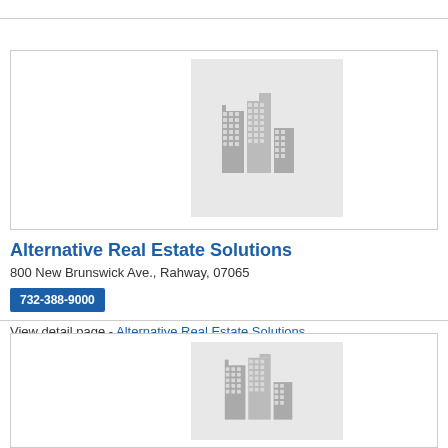[Figure (illustration): Placeholder image of city buildings silhouette on light grey background - first card]
Alternative Real Estate Solutions
800 New Brunswick Ave., Rahway, 07065
732-388-9000
View detail page - Alternative Real Estate Solutions
[Figure (illustration): Placeholder image of city buildings silhouette on light grey background - second card]